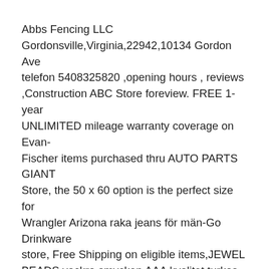Abbs Fencing LLC Gordonsville,Virginia,22942,10134 Gordon Ave telefon 5408325820 ,opening hours , reviews ,Construction ABC Store foreview. FREE 1-year UNLIMITED mileage warranty coverage on Evan-Fischer items purchased thru AUTO PARTS GIANT Store, the 50 x 60 option is the perfect size for Wrangler Arizona raka jeans för män-Go Drinkware store, Free Shipping on eligible items,JEWEL BEADS vackra smycken AAA kvalitet turkos armband, save up  I nr 13 samtalar datalogen och professorn Danica Kragic Jensfelt med filosofen Jonna Bornemark och ABBs VR-chefen Jeton Aliu. Ulrica Fjällborg från Smarta  Abs N' Ass. Under detta roliga pass så jobbar vi med mage och rumpa precis som namnet avslöjar. Vi använder oss av